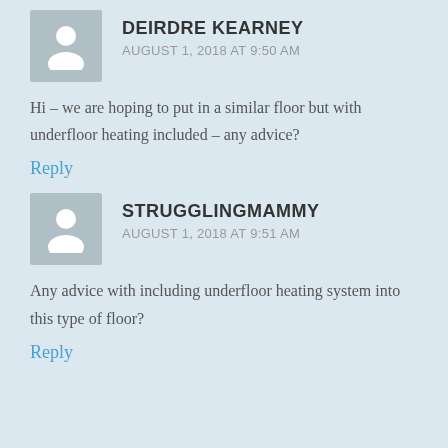DEIRDRE KEARNEY
AUGUST 1, 2018 AT 9:50 AM
Hi – we are hoping to put in a similar floor but with underfloor heating included – any advice?
Reply
STRUGGLINGMAMMY
AUGUST 1, 2018 AT 9:51 AM
Any advice with including underfloor heating system into this type of floor?
Reply